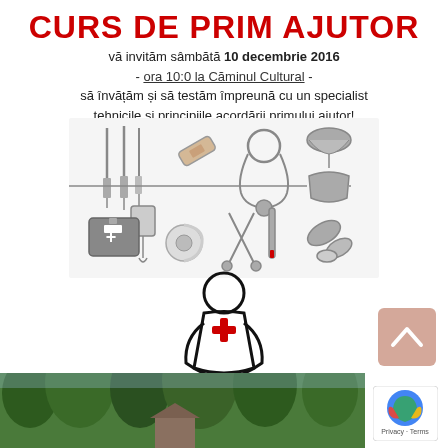CURS DE PRIM AJUTOR
vă invităm sâmbătă 10 decembrie 2016
- ora 10:0 la Căminul Cultural -
să învățăm și să testăm împreună cu un specialist
tehnicile și principiile acordării primului ajutor!
[Figure (illustration): Medical icons: syringes, bandage, IV drip, stethoscope, blood pressure cuff, mask, first aid kit, bandage roll, scissors, thermometer, pills]
[Figure (illustration): CPR illustration: stick figure performing chest compressions on a patient, with red cross symbol on chest]
[Figure (photo): Photo of trees and building at bottom of page]